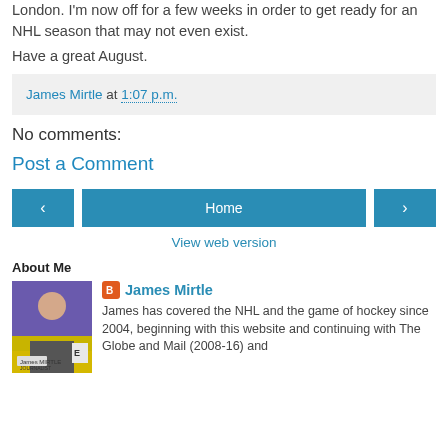London. I'm now off for a few weeks in order to get ready for an NHL season that may not even exist.
Have a great August.
James Mirtle at 1:07 p.m.
No comments:
Post a Comment
Home
View web version
About Me
James Mirtle
James has covered the NHL and the game of hockey since 2004, beginning with this website and continuing with The Globe and Mail (2008-16) and